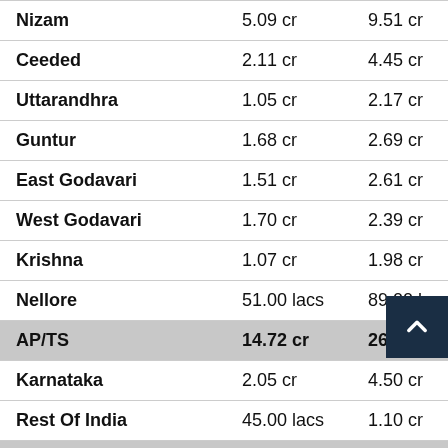| Region | Col1 | Col2 | Col3 |
| --- | --- | --- | --- |
| Nizam | 5.09 cr | 9.51 cr | 14.3 |
| Ceeded | 2.11 cr | 4.45 cr | 6.30 |
| Uttarandhra | 1.05 cr | 2.17 cr | 3.35 |
| Guntur | 1.68 cr | 2.69 cr | 3.66 |
| East Godavari | 1.51 cr | 2.61 cr | 3.68 |
| West Godavari | 1.70 cr | 2.39 cr | 3.05 |
| Krishna | 1.07 cr | 1.98 cr | 2.86 |
| Nellore | 51.00 lacs | 89.00 lacs | 1.27 |
| AP/TS | 14.72 cr | 26.69 cr | 38.5 |
| Karnataka | 2.05 cr | 4.50 cr | 5.40 |
| Rest Of India | 45.00 lacs | 1.10 cr | 60 |
| India | 17.22 cr | 32.29 cr | 45.5 |